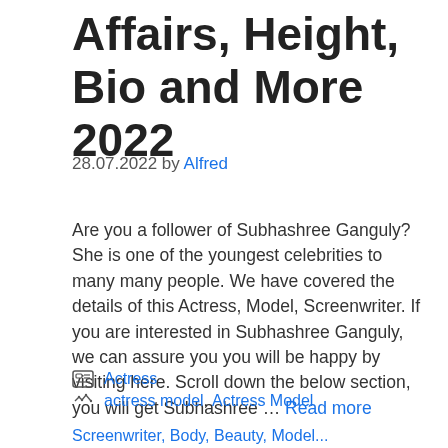Affairs, Height, Bio and More 2022
28.07.2022 by Alfred
Are you a follower of Subhashree Ganguly? She is one of the youngest celebrities to many many people. We have covered the details of this Actress, Model, Screenwriter. If you are interested in Subhashree Ganguly, we can assure you you will be happy by visiting here. Scroll down the below section, you will get Subhashree … Read more
Actress
actress model , Actress Model
Screenwriter, Body, Beauty, Model...